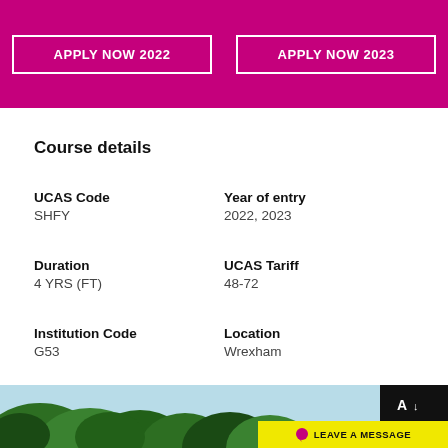[Figure (other): Pink/magenta banner with two white-bordered buttons: APPLY NOW 2022 and APPLY NOW 2023]
Course details
UCAS Code
SHFY
Year of entry
2022, 2023
Duration
4 YRS (FT)
UCAS Tariff
48-72
Institution Code
G53
Location
Wrexham
[Figure (photo): Bottom strip showing trees against a light blue sky, with a black accessibility icon box and a yellow LEAVE A MESSAGE button]